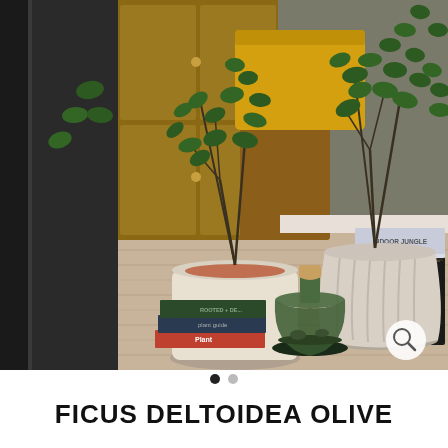[Figure (photo): Indoor plant scene: two ficus plants in decorative pots (a cream cylindrical pot with emblem and a white ribbed round pot) on a wooden floor. Books including 'Indoor Jungle' and 'Rooted + De...' and a glass terrarium bottle with cork are arranged around the pots. A dark wooden chest/box is in the background, along with a wooden chair with a yellow cushion. A magnifying glass icon appears in the bottom right corner of the photo.]
FICUS DELTOIDEA OLIVE